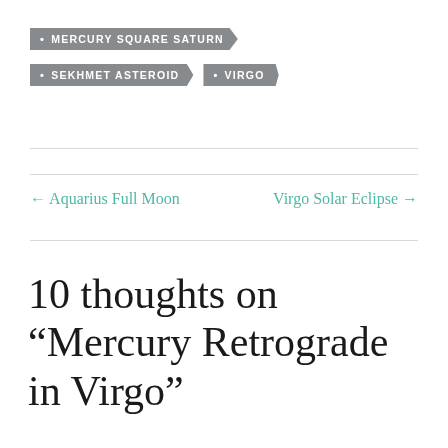• MERCURY SQUARE SATURN
• SEKHMET ASTEROID
• VIRGO
← Aquarius Full Moon    Virgo Solar Eclipse →
10 thoughts on “Mercury Retrograde in Virgo”